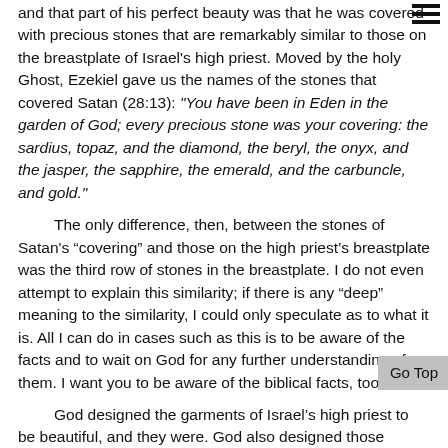and that part of his perfect beauty was that he was covered with precious stones that are remarkably similar to those on the breastplate of Israel's high priest. Moved by the holy Ghost, Ezekiel gave us the names of the stones that covered Satan (28:13): "You have been in Eden in the garden of God; every precious stone was your covering: the sardius, topaz, and the diamond, the beryl, the onyx, and the jasper, the sapphire, the emerald, and the carbuncle, and gold."
The only difference, then, between the stones of Satan's “covering” and those on the high priest’s breastplate was the third row of stones in the breastplate. I do not even attempt to explain this similarity; if there is any “deep” meaning to the similarity, I could only speculate as to what it is. All I can do in cases such as this is to be aware of the facts and to wait on God for any further understanding of them. I want you to be aware of the biblical facts, too.
God designed the garments of Israel’s high priest to be beautiful, and they were. God also designed those garments to speak of Christ and his glory, which they did.